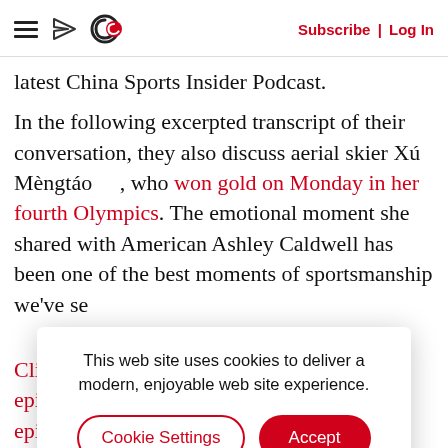Subscribe | Log In
latest China Sports Insider Podcast.
In the following excerpted transcript of their conversation, they also discuss aerial skier Xú Mèngtáo, who won gold on Monday in her fourth Olympics. The emotional moment she shared with American Ashley Caldwell has been one of the best moments of sportsmanship we've seen this winter and she's been doing it
Click through to read the show notes for the episode, or listen to the entire show below: